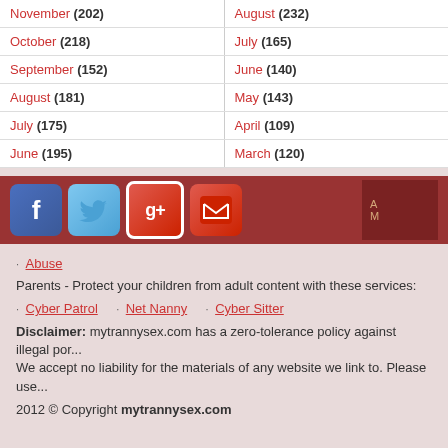| November (202) | August (232) |
| October (218) | July (165) |
| September (152) | June (140) |
| August (181) | May (143) |
| July (175) | April (109) |
| June (195) | March (120) |
[Figure (infographic): Social media sharing bar with Facebook, Twitter, Google+, and email icons on a dark red background]
Abuse
Parents - Protect your children from adult content with these services:
Cyber Patrol   Net Nanny   Cyber Sitter
Disclaimer: mytrannysex.com has a zero-tolerance policy against illegal por... We accept no liability for the materials of any website we link to. Please use...
2012 © Copyright mytrannysex.com